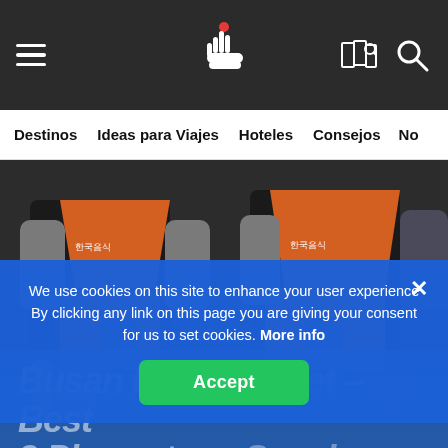Navigation bar with hamburger menu, logo, map and search icons
Destinos
Ideas para Viajes
Hoteles
Consejos
No...
[Figure (photo): Two street food vendors wearing orange and black aprons with Korean text, cooking at a street food stall with various ingredients and sauces on the counter]
Busan Food Market – Best 3 Places to ge Snack
We use cookies on this site to enhance your user experience By clicking any link on this page you are giving your consent for us to set cookies. More info
Accept